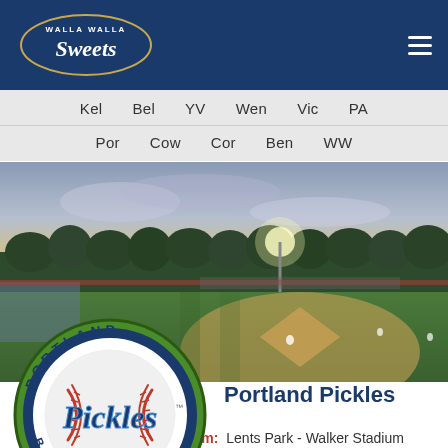[Figure (logo): Walla Walla Sweets baseball team logo in white on dark blue header background]
Kel  Bel  YV  Wen  Vic  PA  Por  Cow  Cor  Ben  WW
[Figure (photo): Aerial/elevated view of a baseball stadium at dusk/evening with lights on, trees in background, Portland Pickles Baseball team logo overlaid on lower left]
Portland Pickles
City: Portland, Or   Stadium: Lents Park - Walker Stadium